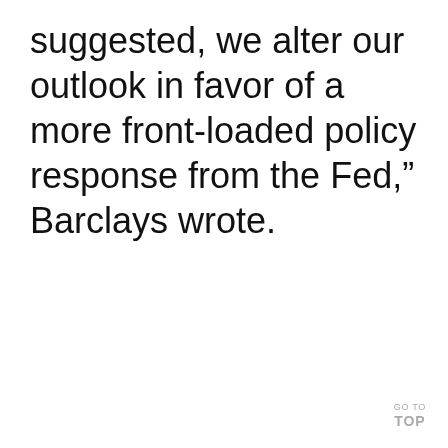suggested, we alter our outlook in favor of a more front-loaded policy response from the Fed,” Barclays wrote.
GO TO TOP